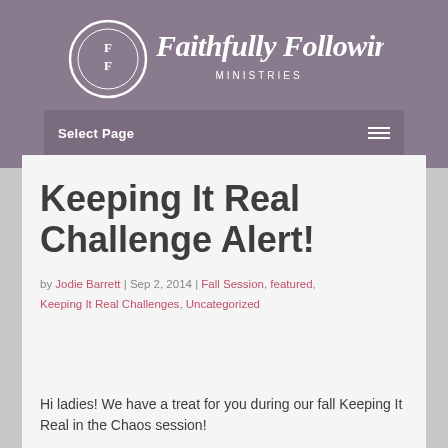[Figure (logo): Faithfully Following Ministries logo — circular FF monogram icon with script text 'Faithfully Following' and 'MINISTRIES' below, white on mauve/purple background]
Select Page
Keeping It Real Challenge Alert!
by Jodie Barrett | Sep 2, 2014 | Fall Session, featured, Keeping It Real Challenges, Uncategorized
Hi ladies! We have a treat for you during our fall Keeping It Real in the Chaos session!